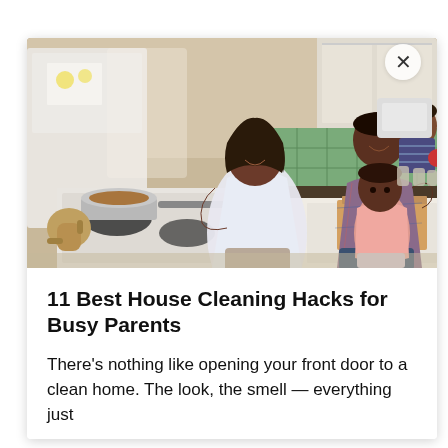[Figure (photo): A happy Black family in a kitchen. A woman in a white top stirs a pot on a gas stove, while a man in a plaid shirt holds a young child. A small girl in a pink top stands at an open drawer nearby. The kitchen has green tile backsplash and white cabinets.]
11 Best House Cleaning Hacks for Busy Parents
There's nothing like opening your front door to a clean home. The look, the smell — everything just